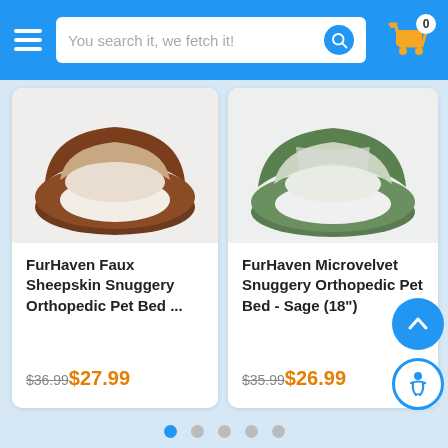You search it, we fetch it!
[Figure (photo): FurHaven Faux Sheepskin Snuggery Orthopedic Pet Bed - brown circular dog bed with hooded canopy]
FurHaven Faux Sheepskin Snuggery Orthopedic Pet Bed ...
$36.99 $27.99
[Figure (photo): FurHaven Microvelvet Snuggery Orthopedic Pet Bed - Sage (18") - green circular dog bed with hooded canopy]
FurHaven Microvelvet Snuggery Orthopedic Pet Bed - Sage (18")
$35.99 $26.99